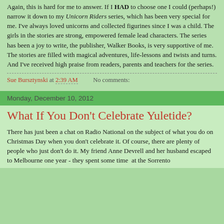Again, this is hard for me to answer. If I HAD to choose one I could (perhaps!) narrow it down to my Unicorn Riders series, which has been very special for me. I've always loved unicorns and collected figurines since I was a child. The girls in the stories are strong, empowered female lead characters. The series has been a joy to write, the publisher, Walker Books, is very supportive of me. The stories are filled with magical adventures, life-lessons and twists and turns. And I've received high praise from readers, parents and teachers for the series.
Sue Bursztynski at 2:39 AM    No comments:
Monday, December 10, 2012
What If You Don't Celebrate Yuletide?
There has just been a chat on Radio National on the subject of what you do on Christmas Day when you don't celebrate it. Of course, there are plenty of people who just don't do it. My friend Anne Devrell and her husband escaped to Melbourne one year - they spent some time  at the Sorrento